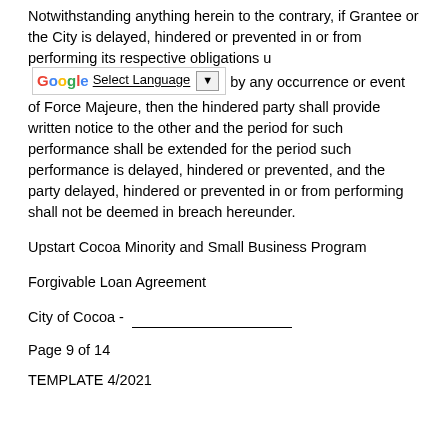Notwithstanding anything herein to the contrary, if Grantee or the City is delayed, hindered or prevented in or from performing its respective obligations u[nder this Agreement] by any occurrence or event of Force Majeure, then the hindered party shall provide written notice to the other and the period for such performance shall be extended for the period such performance is delayed, hindered or prevented, and the party delayed, hindered or prevented in or from performing shall not be deemed in breach hereunder.
Upstart Cocoa Minority and Small Business Program
Forgivable Loan Agreement
City of Cocoa - ________________
Page 9 of 14
TEMPLATE 4/2021